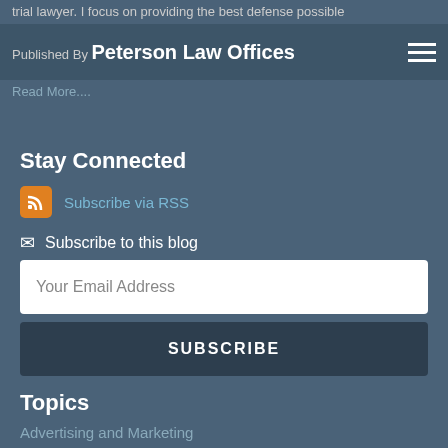trial lawyer. I focus on providing the best defense possible
Published By Peterson Law Offices
Read More....
Stay Connected
Subscribe via RSS
Subscribe to this blog
Your Email Address
SUBSCRIBE
Topics
Advertising and Marketing
Assistance of Counsel